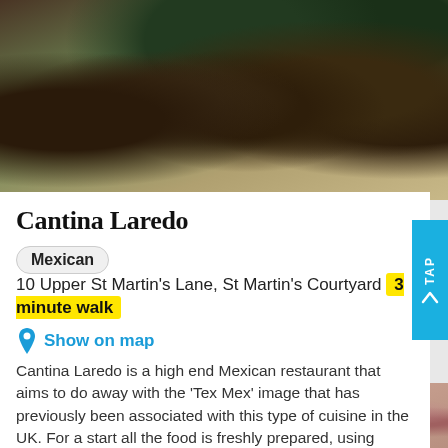[Figure (photo): Interior photo of a restaurant showing wooden chairs and tables]
Cantina Laredo
Mexican  10 Upper St Martin's Lane, St Martin's Courtyard  3 minute walk
Show on map
Cantina Laredo is a high end Mexican restaurant that aims to do away with the 'Tex Mex' image that has previously been associated with this type of cuisine in the UK. For a start all the food is freshly prepared, using high....more
Free online booking
No credit card required
[Figure (photo): Bottom photo showing decorative food or textile pattern]